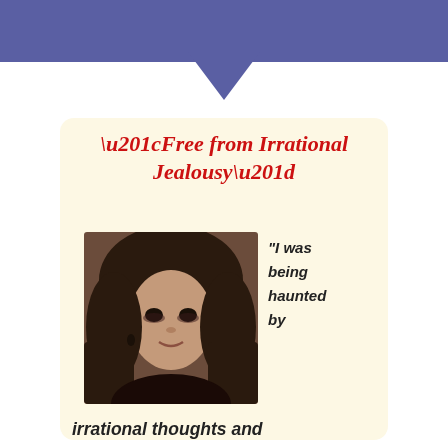[Figure (illustration): Blue banner at the top of the page with a downward-pointing chevron/arrow at the bottom center]
“Free from Irrational Jealousy”
[Figure (photo): Portrait photo of a young woman with long dark hair, smiling slightly, dark eye makeup]
“I was being haunted by
irrational thoughts and